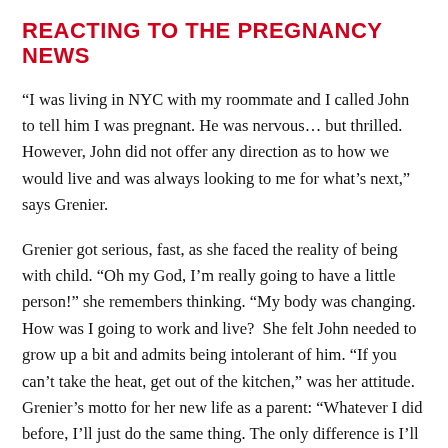REACTING TO THE PREGNANCY NEWS
“I was living in NYC with my roommate and I called John to tell him I was pregnant. He was nervous… but thrilled. However, John did not offer any direction as to how we would live and was always looking to me for what’s next,” says Grenier.
Grenier got serious, fast, as she faced the reality of being with child. “Oh my God, I’m really going to have a little person!” she remembers thinking. “My body was changing. How was I going to work and live?  She felt John needed to grow up a bit and admits being intolerant of him. “If you can’t take the heat, get out of the kitchen,” was her attitude. Grenier’s motto for her new life as a parent: “Whatever I did before, I’ll just do the same thing. The only difference is I’ll